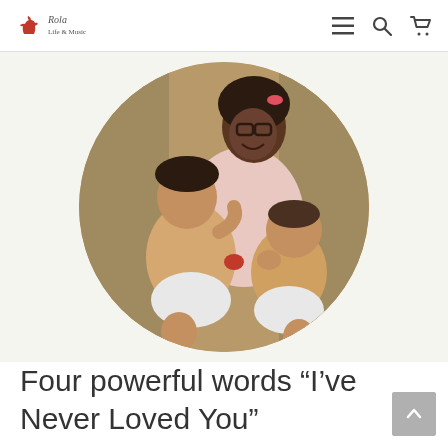Rola — navigation header with hamburger menu, search, and cart icons
[Figure (photo): Circular cropped vintage photograph of a young Black woman wearing glasses and a pink cardigan, smiling, holding a baby in a diaper on her lap while a toddler sits beside them.]
Four powerful words “I’ve Never Loved You”